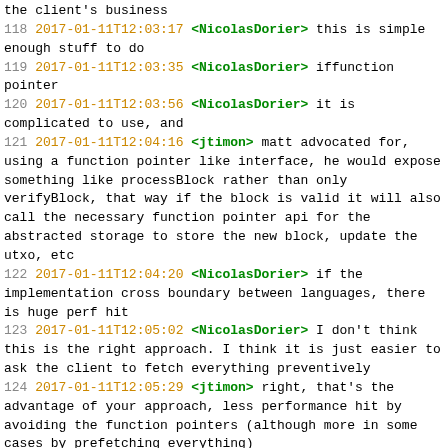the client's business
118 2017-01-11T12:03:17 <NicolasDorier> this is simple enough stuff to do
119 2017-01-11T12:03:35 <NicolasDorier> iffunction pointer
120 2017-01-11T12:03:56 <NicolasDorier> it is complicated to use, and
121 2017-01-11T12:04:16 <jtimon> matt advocated for, using a function pointer like interface, he would expose something like processBlock rather than only verifyBlock, that way if the block is valid it will also call the necessary function pointer api for the abstracted storage to store the new block, update the utxo, etc
122 2017-01-11T12:04:20 <NicolasDorier> if the implementation cross boundary between languages, there is huge perf hit
123 2017-01-11T12:05:02 <NicolasDorier> I don't think this is the right approach. I think it is just easier to ask the client to fetch everything preventively
124 2017-01-11T12:05:29 <jtimon> right, that's the advantage of your approach, less performance hit by avoiding the function pointers (although more in some cases by prefetching everything)
125 2017-01-11T12:05:47 <jtimon> right, just comparing the different approaches
126 2017-01-11T12:06:08 <NicolasDorier> this also make it harder for us to break users of consensus